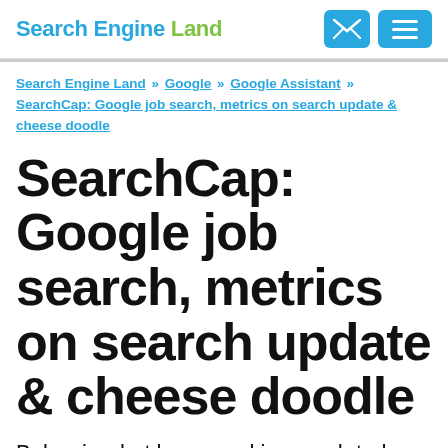Search Engine Land
Search Engine Land » Google » Google Assistant » SearchCap: Google job search, metrics on search update & cheese doodle
SearchCap: Google job search, metrics on search update & cheese doodle
Below is what happened in search today,